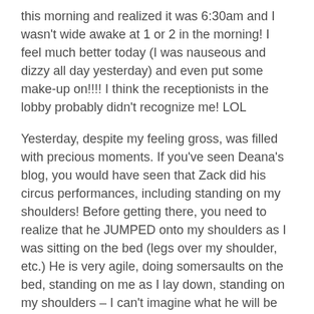this morning and realized it was 6:30am and I wasn't wide awake at 1 or 2 in the morning! I feel much better today (I was nauseous and dizzy all day yesterday) and even put some make-up on!!!! I think the receptionists in the lobby probably didn't recognize me! LOL
Yesterday, despite my feeling gross, was filled with precious moments. If you've seen Deana's blog, you would have seen that Zack did his circus performances, including standing on my shoulders! Before getting there, you need to realize that he JUMPED onto my shoulders as I was sitting on the bed (legs over my shoulder, etc.) He is very agile, doing somersaults on the bed, standing on me as I lay down, standing on my shoulders – I can't imagine what he will be capable of once we get out of this tiny room!